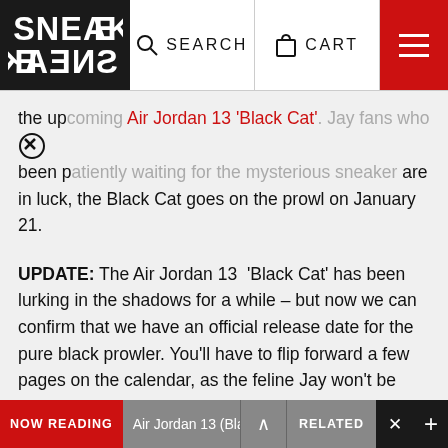SNEAKER FREAKER | SEARCH | CART | menu
the upcoming Air Jordan 13 'Black Cat'. Jay fans who've been patiently waiting for the mysterious sneaker are in luck, the Black Cat goes on the prowl on January 21.
UPDATE: The Air Jordan 13 'Black Cat' has been lurking in the shadows for a while – but now we can confirm that we have an official release date for the pure black prowler. You'll have to flip forward a few pages on the calendar, as the feline Jay won't be available until January 21, 2017.
The Air Jordan 13 returns under the guise of a panther in this sleek 'Black Cat' iteration. The angular side panels
NOW READING Air Jordan 13 (Black ∧ RELATED ✕ +